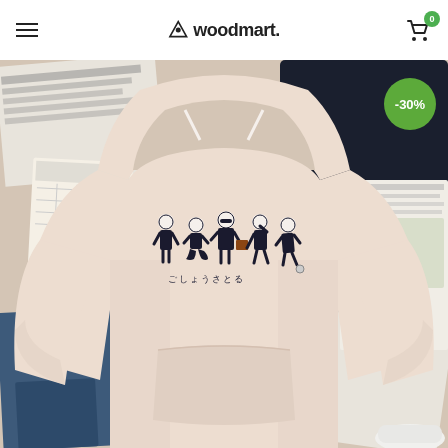woodmart.
[Figure (photo): Product photo of a cream/beige hoodie sweatshirt with anime chibi character print and Japanese text, laid flat on a bed with magazines and denim jeans visible in the background. A green circular badge shows -30% discount.]